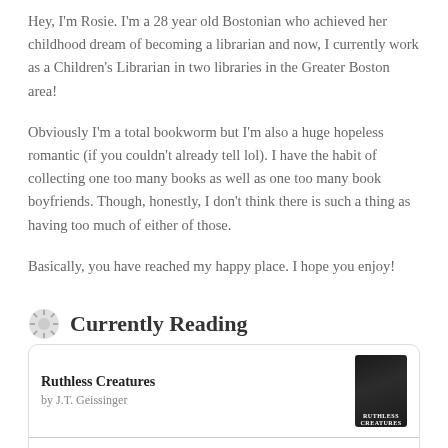Hey, I'm Rosie. I'm a 28 year old Bostonian who achieved her childhood dream of becoming a librarian and now, I currently work as a Children's Librarian in two libraries in the Greater Boston area!
Obviously I'm a total bookworm but I'm also a huge hopeless romantic (if you couldn't already tell lol). I have the habit of collecting one too many books as well as one too many book boyfriends. Though, honestly, I don't think there is such a thing as having too much of either of those.
Basically, you have reached my happy place. I hope you enjoy!
Currently Reading
| Title | Author | Cover |
| --- | --- | --- |
| Ruthless Creatures | by J.T. Geissinger |  |
| Hero |  |  |